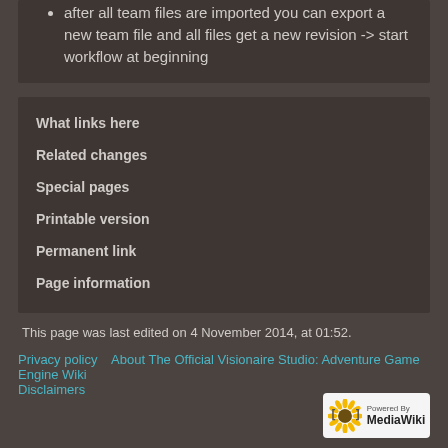after all team files are imported you can export a new team file and all files get a new revision -> start workflow at beginning
What links here
Related changes
Special pages
Printable version
Permanent link
Page information
This page was last edited on 4 November 2014, at 01:52.
Privacy policy   About The Official Visionaire Studio: Adventure Game Engine Wiki   Disclaimers